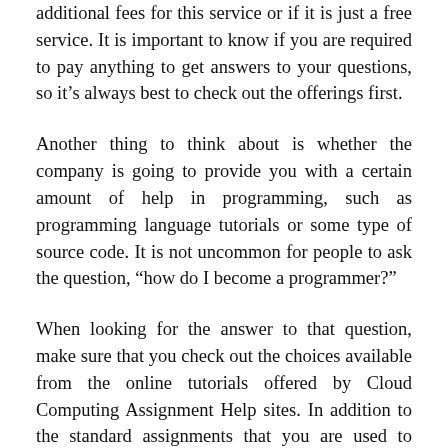additional fees for this service or if it is just a free service. It is important to know if you are required to pay anything to get answers to your questions, so it’s always best to check out the offerings first.
Another thing to think about is whether the company is going to provide you with a certain amount of help in programming, such as programming language tutorials or some type of source code. It is not uncommon for people to ask the question, “how do I become a programmer?”
When looking for the answer to that question, make sure that you check out the choices available from the online tutorials offered by Cloud Computing Assignment Help sites. In addition to the standard assignments that you are used to completing, such as web page design, it is also possible to learn how to write Windows and Linux scripts, HTML, XML and JavaScript and other programming languages.
The next part of this page has a difficult to avoid problem...